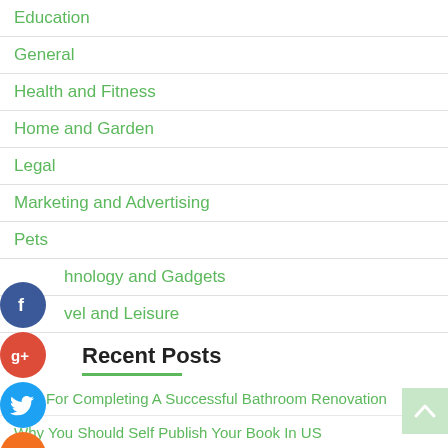Education
General
Health and Fitness
Home and Garden
Legal
Marketing and Advertising
Pets
Technology and Gadgets
Travel and Leisure
Recent Posts
Tips For Completing A Successful Bathroom Renovation
Why You Should Self Publish Your Book In US